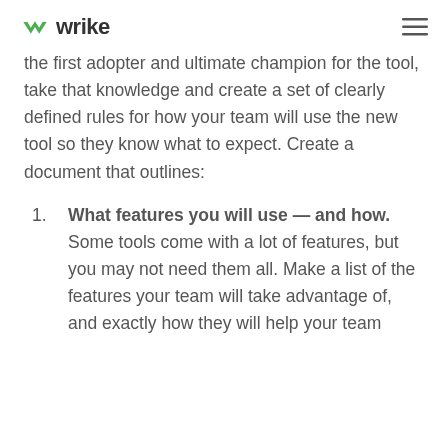wrike
the first adopter and ultimate champion for the tool, take that knowledge and create a set of clearly defined rules for how your team will use the new tool so they know what to expect. Create a document that outlines:
What features you will use — and how. Some tools come with a lot of features, but you may not need them all. Make a list of the features your team will take advantage of, and exactly how they will help your team